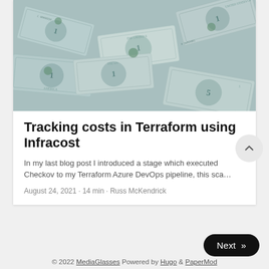[Figure (photo): Scattered US dollar bills, teal/monochrome toned photo]
Tracking costs in Terraform using Infracost
In my last blog post I introduced a stage which executed Checkov to my Terraform Azure DevOps pipeline, this sca…
August 24, 2021 · 14 min · Russ McKendrick
Next »
© 2022 MediaGlasses  Powered by Hugo & PaperMod